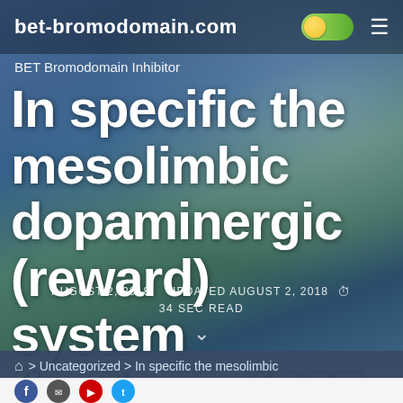bet-bromodomain.com
BET Bromodomain Inhibitor
In specific the mesolimbic dopaminergic (reward) system (Leshner, 1997; Sussman Ames, 2008). These
AUGUST 2, 2018   UPDATED AUGUST 2, 2018   34 SEC READ
> Uncategorized > In specific the mesolimbic